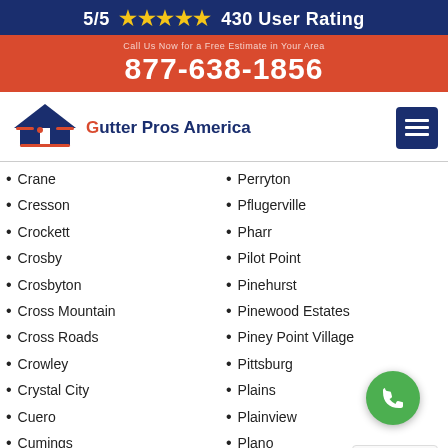5/5 ★★★★★ 430 User Rating
877-638-1856
[Figure (logo): Gutter Pros America logo with house/roof icon in navy blue and red]
Crane
Cresson
Crockett
Crosby
Crosbyton
Cross Mountain
Cross Roads
Crowley
Crystal City
Cuero
Cumings
Cut and Shoot
Daingerfield
Perryton
Pflugerville
Pharr
Pilot Point
Pinehurst
Pinewood Estates
Piney Point Village
Pittsburg
Plains
Plainview
Plano
Pleak
Pleasanton